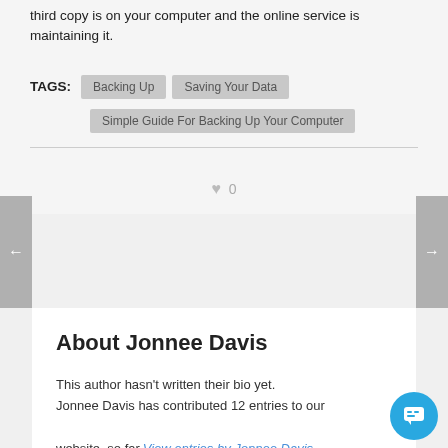third copy is on your computer and the online service is maintaining it.
TAGS: Backing Up   Saving Your Data   Simple Guide For Backing Up Your Computer
♥ 0
About Jonnee Davis
This author hasn't written their bio yet. Jonnee Davis has contributed 12 entries to our website, so far. View entries by Jonnee Davis